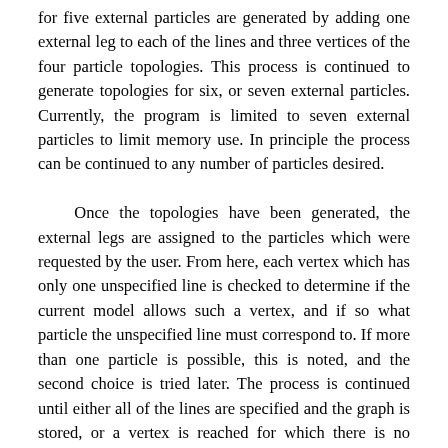for five external particles are generated by adding one external leg to each of the lines and three vertices of the four particle topologies. This process is continued to generate topologies for six, or seven external particles. Currently, the program is limited to seven external particles to limit memory use. In principle the process can be continued to any number of particles desired.

Once the topologies have been generated, the external legs are assigned to the particles which were requested by the user. From here, each vertex which has only one unspecified line is checked to determine if the current model allows such a vertex, and if so what particle the unspecified line must correspond to. If more than one particle is possible, this is noted, and the second choice is tried later. The process is continued until either all of the lines are specified and the graph is stored, or a vertex is reached for which there is no possible coupling in the specified model and the graph is discarded. All of the graphs which are stored are then checked to assure they are of the correct